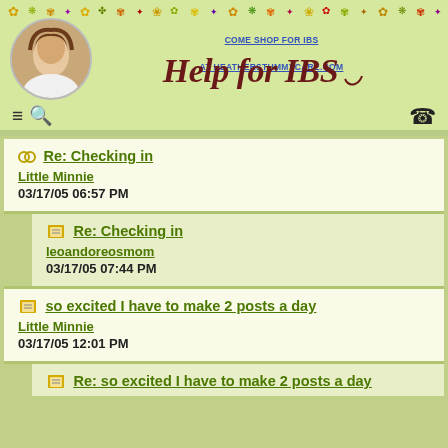COME SHOP FOR IBS AT HEATHERSTUMMYCARE.COM
Help for IBS
Re: Checking in — Little Minnie — 03/17/05 06:57 PM
Re: Checking in — leoandoreosmom — 03/17/05 07:44 PM
so excited I have to make 2 posts a day — Little Minnie — 03/17/05 12:01 PM
Re: so excited I have to make 2 posts a day — Little Minnie